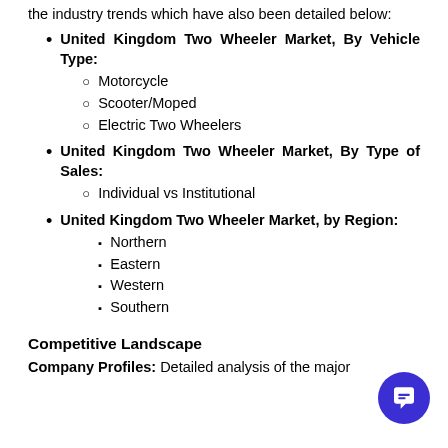the industry trends which have also been detailed below:
United Kingdom Two Wheeler Market, By Vehicle Type:
Motorcycle
Scooter/Moped
Electric Two Wheelers
United Kingdom Two Wheeler Market, By Type of Sales:
Individual vs Institutional
United Kingdom Two Wheeler Market, by Region:
Northern
Eastern
Western
Southern
Competitive Landscape
Company Profiles: Detailed analysis of the major